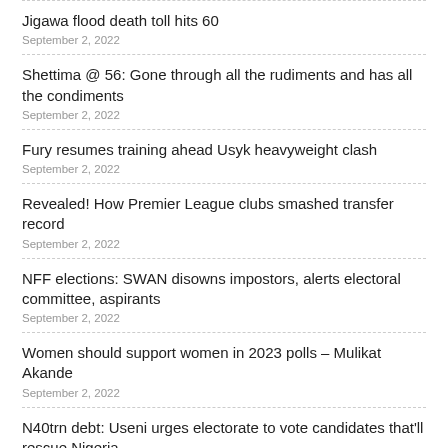Jigawa flood death toll hits 60
September 2, 2022
Shettima @ 56: Gone through all the rudiments and has all the condiments
September 2, 2022
Fury resumes training ahead Usyk heavyweight clash
September 2, 2022
Revealed! How Premier League clubs smashed transfer record
September 2, 2022
NFF elections: SWAN disowns impostors, alerts electoral committee, aspirants
September 2, 2022
Women should support women in 2023 polls – Mulikat Akande
September 2, 2022
N40trn debt: Useni urges electorate to vote candidates that'll rescue Nigeria
September 2, 2022